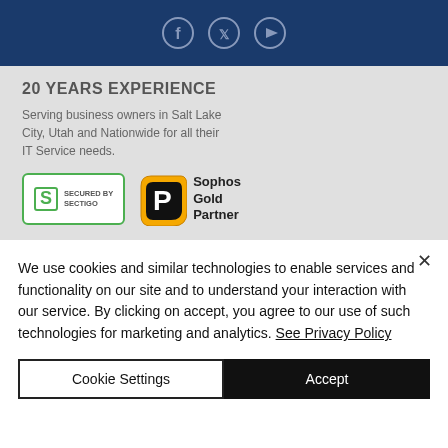[Figure (other): Dark blue banner with three social media icons: Facebook, Twitter, YouTube — each in a circular outline style]
20 YEARS EXPERIENCE
Serving business owners in Salt Lake City, Utah and Nationwide for all their IT Service needs.
[Figure (logo): Secured by Sectigo badge (green border, S logo) and Sophos Gold Partner badge (gold and black P logo)]
We use cookies and similar technologies to enable services and functionality on our site and to understand your interaction with our service. By clicking on accept, you agree to our use of such technologies for marketing and analytics. See Privacy Policy
Cookie Settings | Accept